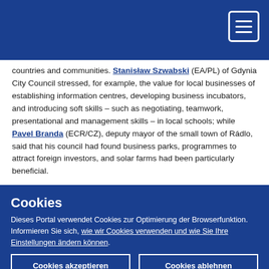countries and communities. Stanisław Szwabski (EA/PL) of Gdynia City Council stressed, for example, the value for local businesses of establishing information centres, developing business incubators, and introducing soft skills – such as negotiating, teamwork, presentational and management skills – in local schools; while Pavel Branda (ECR/CZ), deputy mayor of the small town of Rádlo, said that his council had found business parks, programmes to attract foreign investors, and solar farms had been particularly beneficial.
Cookies
Dieses Portal verwendet Cookies zur Optimierung der Browserfunktion. Informieren Sie sich, wie wir Cookies verwenden und wie Sie Ihre Einstellungen ändern können.
Cookies akzeptieren
Cookies ablehnen